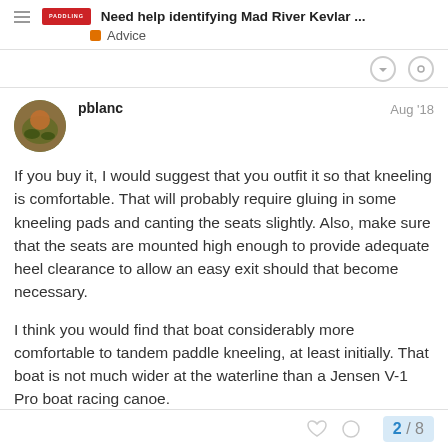Need help identifying Mad River Kevlar ...
Advice
pblanc
Aug '18
If you buy it, I would suggest that you outfit it so that kneeling is comfortable. That will probably require gluing in some kneeling pads and canting the seats slightly. Also, make sure that the seats are mounted high enough to provide adequate heel clearance to allow an easy exit should that become necessary.
I think you would find that boat considerably more comfortable to tandem paddle kneeling, at least initially. That boat is not much wider at the waterline than a Jensen V-1 Pro boat racing canoe.
2 / 8